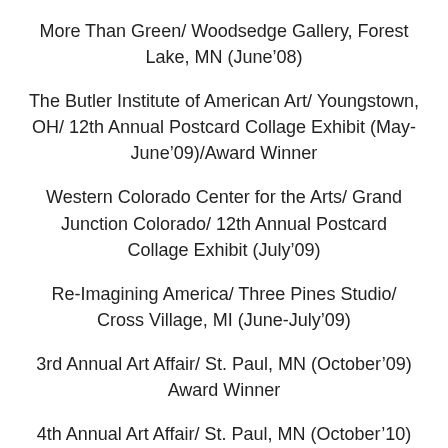More Than Green/ Woodsedge Gallery, Forest Lake, MN (June’08)
The Butler Institute of American Art/ Youngstown, OH/ 12th Annual Postcard Collage Exhibit (May-June’09)/Award Winner
Western Colorado Center for the Arts/ Grand Junction Colorado/ 12th Annual Postcard Collage Exhibit (July’09)
Re-Imagining America/ Three Pines Studio/ Cross Village, MI (June-July’09)
3rd Annual Art Affair/ St. Paul, MN (October’09) Award Winner
4th Annual Art Affair/ St. Paul, MN (October’10)
National Collage Society/ 25th Annual Juried…